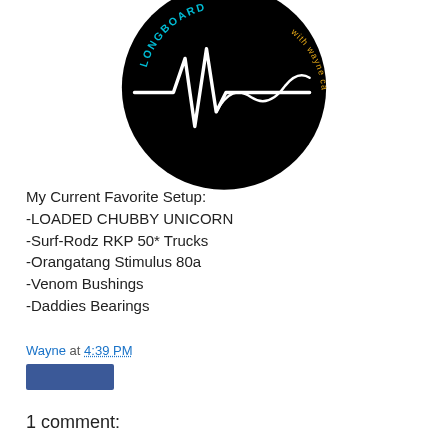[Figure (logo): Circular black logo with white EKG/heartbeat line and cursive signature reading 'Wayne', with teal text 'LONGBOARD' and orange text 'with wayne ca' arranged around the circle]
My Current Favorite Setup:
-LOADED CHUBBY UNICORN
-Surf-Rodz RKP 50* Trucks
-Orangatang Stimulus 80a
-Venom Bushings
-Daddies Bearings
Wayne at 4:39 PM
[Figure (other): Blue share/action button]
1 comment: